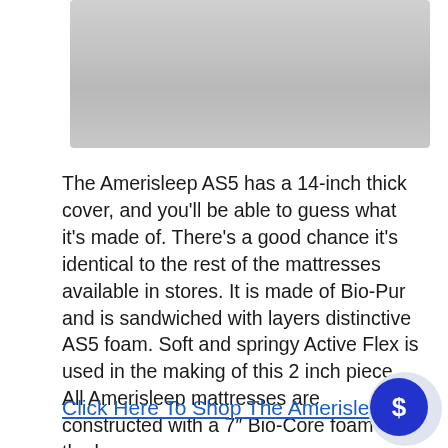[Figure (photo): Gray gradient rectangular image placeholder at the top of the page]
The Amerisleep AS5 has a 14-inch thick cover, and you'll be able to guess what it's made of. There's a good chance it's identical to the rest of the mattresses available in stores. It is made of Bio-Pur and is sandwiched with layers distinctive AS5 foam. Soft and springy Active Flex is used in the making of this 2 inch piece. All Amerisleep mattresses are constructed with a 7″ Bio-Core foam as the base.
Click Here To Shop The Amerisleep AS5